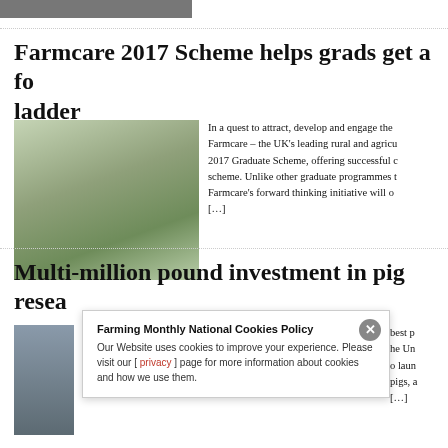[Figure (photo): Top partial image of article, cropped at top of page]
Farmcare 2017 Scheme helps grads get a foot on the ladder
[Figure (photo): Photo of a person working among flowering trees/branches outdoors]
In a quest to attract, develop and engage the best talent, Farmcare – the UK's leading rural and agricultural business, has launched its 2017 Graduate Scheme, offering successful candidates a fully comprehensive scheme. Unlike other graduate programmes that focus on one specific area, Farmcare's forward thinking initiative will o… [...]
Multi-million pound investment in pig resea…
[Figure (photo): Partial photo of pigs/pig farm scene]
Farming Monthly National Cookies Policy
Our Website uses cookies to improve your experience. Please visit our [ privacy ] page for more information about cookies and how we use them.